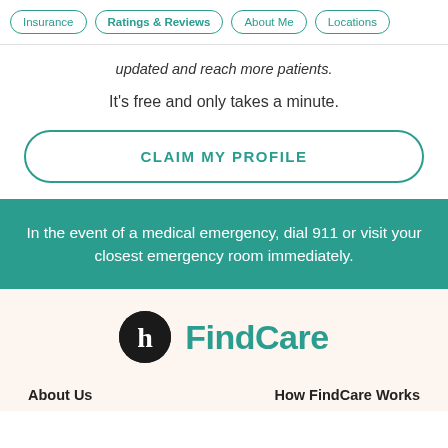Insurance | Ratings & Reviews | About Me | Locations
updated and reach more patients.
It's free and only takes a minute.
CLAIM MY PROFILE
In the event of a medical emergency, dial 911 or visit your closest emergency room immediately.
[Figure (logo): FindCare logo: black circle with white 'h' letterform followed by 'FindCare' in teal text]
About Us
How FindCare Works